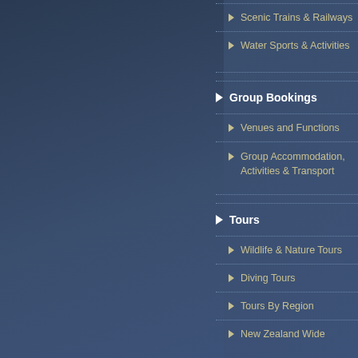Scenic Trains & Railways
Water Sports & Activities
Group Bookings
Venues and Functions
Group Accommodation, Activities & Transport
Tours
Wildlife & Nature Tours
Diving Tours
Tours By Region
New Zealand Wide